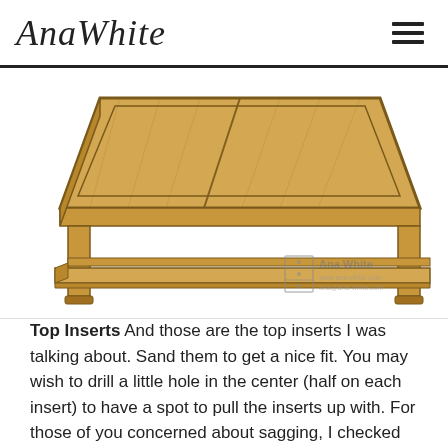AnaWhite
[Figure (illustration): 3D illustration of a wooden coffee table with removable top inserts, showing the table from a top-down perspective angle. The table has a light wood finish with visible grain, and a lower shelf. Ana White watermark in bottom right corner.]
Top Inserts And those are the top inserts I was talking about. Sand them to get a nice fit. You may wish to drill a little hole in the center (half on each insert) to have a spot to pull the inserts up with. For those of you concerned about sagging, I checked the deflection and you should be able to put 70 pounds on each inset with no noticeable deflection – that's as much as any preschooler would weigh. But if you are going to stand on it, make sure you put a foot on